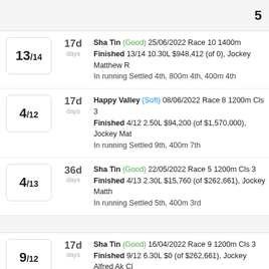5
13/14 | 17d | Sha Tin (Good) 25/06/2022 Race 10 1400m | Finished 13/14 10.30L $948,412 (of 0), Jockey Matthew R | In running Settled 4th, 800m 4th, 400m 4th
4/12 | 17d | Happy Valley (Soft) 08/06/2022 Race 8 1200m Cls 3 | Finished 4/12 2.50L $94,200 (of $1,570,000), Jockey Mat | In running Settled 9th, 400m 7th
4/13 | 36d | Sha Tin (Good) 22/05/2022 Race 5 1200m Cls 3 | Finished 4/13 2.30L $15,760 (of $262,661), Jockey Matth | In running Settled 5th, 400m 3rd
9/12 | 17d | Sha Tin (Good) 16/04/2022 Race 9 1200m Cls 3 | Finished 9/12 6.30L $0 (of $262,661), Jockey Alfred Ak Cl | In running Settled 12th, 400m 10th
8/12 | 18d | Sha Tin (Firm) 30/03/2022 Race 8 1200m Cls 3 | Finished 8/12 3.90L $0 (of $262,661), Jockey Alfred Ak Cl | In running Settled 11th, 400m 11th
9/14 | 17d | Sha Tin (Good) 12/03/2022 Race 10 1400m Cls 2 | Finished 9/14 1.80L $0 (of $401,520), Jockey R Maia, Ba | In running Settled 10th, 800m 10th, 400m 10th